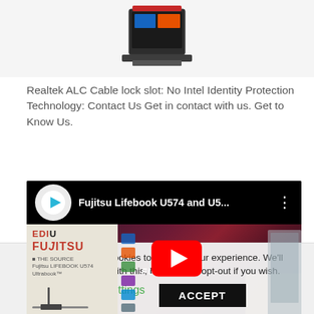[Figure (photo): Top portion of a device/hardware product image on a light gray background, partially cropped]
Realtek ALC Cable lock slot: No Intel Identity Protection Technology: Contact Us Get in contact with us. Get to Know Us.
[Figure (screenshot): YouTube video thumbnail showing Fujitsu Lifebook U574 and U5... with YouTube play button overlay, showing a Fujitsu laptop with red swirl wallpaper and a left panel with EDIU/FUJITSU branding]
This website uses cookies to improve your experience. We'll assume you're ok with this, but you can opt-out if you wish.
Cookie settings
ACCEPT